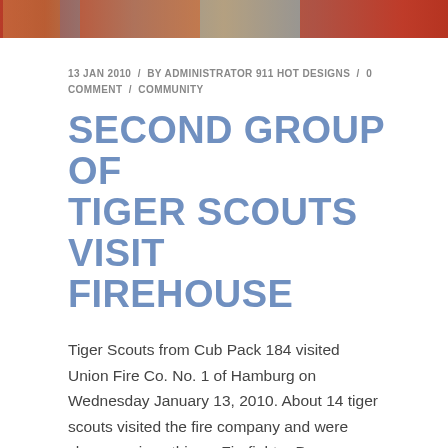[Figure (photo): Top banner image showing fire apparatus and equipment in red and gray tones]
13 JAN 2010  /  BY ADMINISTRATOR 911 HOT DESIGNS  /  0 COMMENT  /  COMMUNITY
SECOND GROUP OF TIGER SCOUTS VISIT FIREHOUSE
Tiger Scouts from Cub Pack 184 visited Union Fire Co. No. 1 of Hamburg on Wednesday January 13, 2010. About 14 tiger scouts visited the fire company and were shown various things. Firefighter Daren Geschwindt volunteered to discuss various things with the scouts. Geschwindt showed the interested youngsters all of the fire apparatus that is contained within the station. Kids were shown many compartments on the apparatus, and how to use some tools that are within the